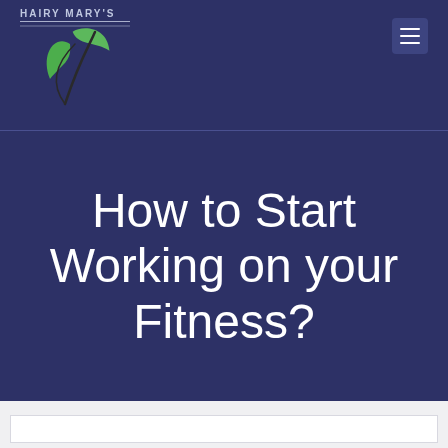[Figure (logo): Hairy Mary's logo with green leaf/feather graphic and text 'HAIRY MARY'S' in small caps with horizontal line]
How to Start Working on your Fitness?